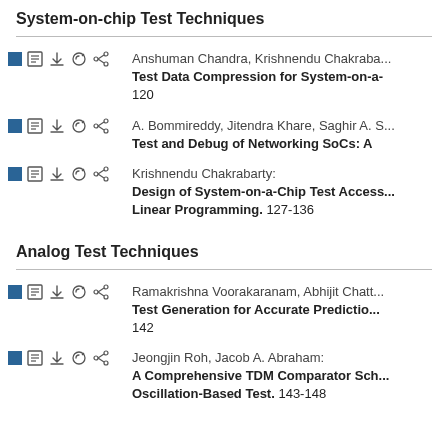System-on-chip Test Techniques
Anshuman Chandra, Krishnendu Chakraba... Test Data Compression for System-on-a-... 120
A. Bommireddy, Jitendra Khare, Saghir A. S... Test and Debug of Networking SoCs: A ...
Krishnendu Chakrabarty: Design of System-on-a-Chip Test Access... Linear Programming. 127-136
Analog Test Techniques
Ramakrishna Voorakaranam, Abhijit Chatt... Test Generation for Accurate Predictio... 142
Jeongjin Roh, Jacob A. Abraham: A Comprehensive TDM Comparator Sch... Oscillation-Based Test. 143-148